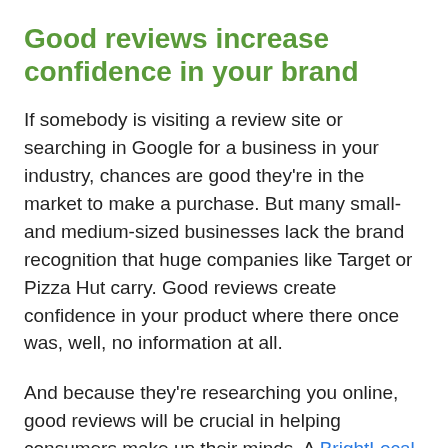Good reviews increase confidence in your brand
If somebody is visiting a review site or searching in Google for a business in your industry, chances are good they're in the market to make a purchase. But many small- and medium-sized businesses lack the brand recognition that huge companies like Target or Pizza Hut carry. Good reviews create confidence in your product where there once was, well, no information at all.
And because they're researching you online, good reviews will be crucial in helping consumers make up their minds. A BrightLocal survey says that 85 percent of consumers admit to reading online reviews and about 65 percent of consumers trust them almost as much as personal recommendations.